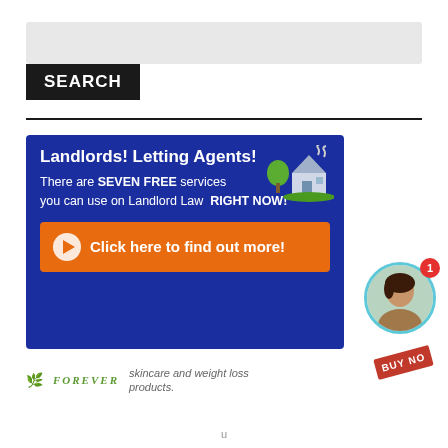[Figure (screenshot): Search bar input field (light grey)]
SEARCH
[Figure (infographic): Advertisement banner: Landlords! Letting Agents! There are SEVEN FREE services you can use on Landlord Law RIGHT NOW! Click here to find out more!]
[Figure (screenshot): Chat bubble: Want to ask a Solicitor online now? I can connect you ... with avatar and notification badge]
[Figure (infographic): Forever Living products advertisement strip with logo, skincare and weight loss products text, and BUY NOW badge]